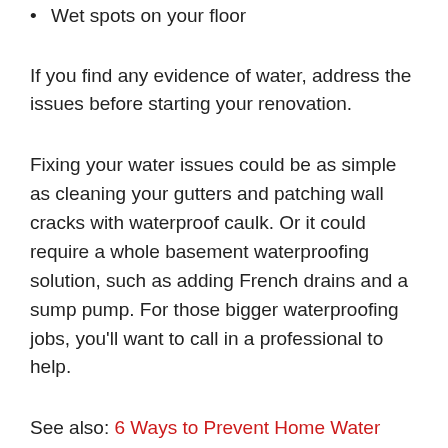Wet spots on your floor
If you find any evidence of water, address the issues before starting your renovation.
Fixing your water issues could be as simple as cleaning your gutters and patching wall cracks with waterproof caulk. Or it could require a whole basement waterproofing solution, such as adding French drains and a sump pump. For those bigger waterproofing jobs, you’ll want to call in a professional to help.
See also: 6 Ways to Prevent Home Water Damage